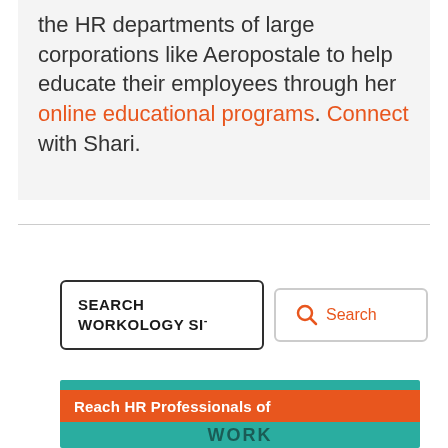the HR departments of large corporations like Aeropostale to help educate their employees through her online educational programs. Connect with Shari.
[Figure (screenshot): Search bar with text 'SEARCH WORKOLOGY SI-' and a search button with magnifying glass icon]
[Figure (infographic): Banner for Workology site saying 'Reach HR Professionals of WORK...' with teal and orange branding]